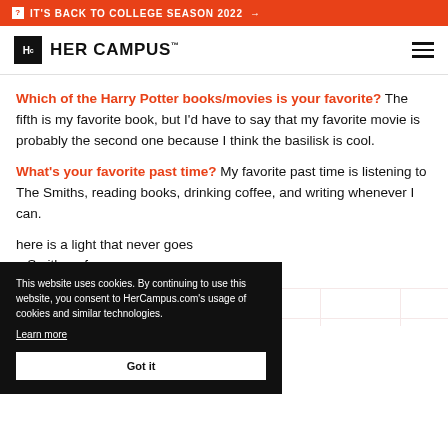IT'S BACK TO COLLEGE SEASON 2022 →
[Figure (logo): Her Campus logo with Hc icon and text HER CAMPUS]
Which of the Harry Potter books/movies is your favorite? The fifth is my favorite book, but I'd have to say that my favorite movie is probably the second one because I think the basilisk is cool.
What's your favorite past time? My favorite past time is listening to The Smiths, reading books, drinking coffee, and writing whenever I can.
here is a light that never goes a Smiths reference.
would describe myself as a people up in arguments, talk
This website uses cookies. By continuing to use this website, you consent to HerCampus.com's usage of cookies and similar technologies. Learn more Got it